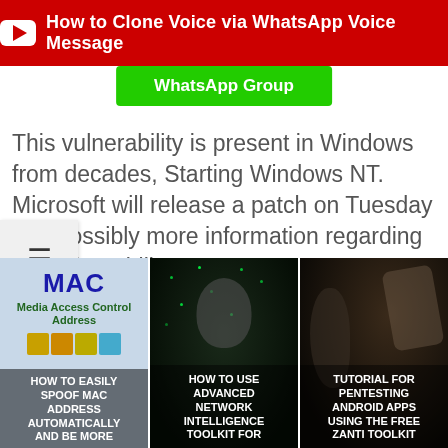[Figure (screenshot): YouTube banner with red background showing 'How to Clone Voice via WhatsApp Voice Message']
[Figure (screenshot): Green WhatsApp Group button]
This vulnerability is present in Windows from decades, starting Windows NT. Microsoft will release a patch on Tuesday and possibly more information regarding the vulnerability.
[Figure (screenshot): Hamburger menu icon (≡)]
[Figure (screenshot): Card: HOW TO EASILY SPOOF MAC ADDRESS AUTOMATICALLY AND BE MORE - MAC Media Access Control Address]
[Figure (screenshot): Card: HOW TO USE ADVANCED NETWORK INTELLIGENCE TOOLKIT FOR]
[Figure (screenshot): Card: TUTORIAL FOR PENTESTING ANDROID APPS USING THE FREE ZANTI TOOLKIT]